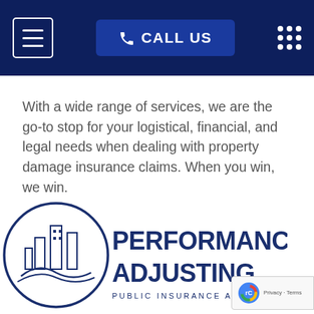CALL US
With a wide range of services, we are the go-to stop for your logistical, financial, and legal needs when dealing with property damage insurance claims. When you win, we win.
[Figure (logo): Performance Adjusting Public Insurance Adjuster logo — circular emblem with city buildings, paired with bold navy text reading PERFORMANCE ADJUSTING and subtitle PUBLIC INSURANCE ADJUSTER]
Privacy · Terms